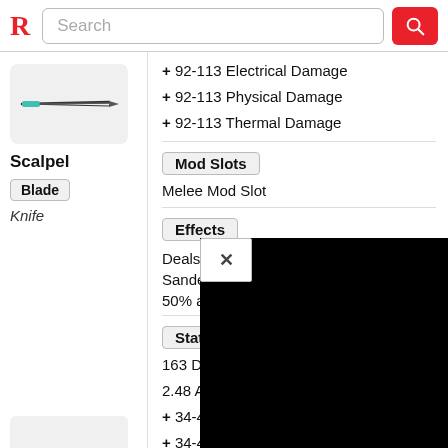Search
[Figure (illustration): Scalpel weapon image — a thin blade/knife on a light grey background]
Scalpel
Blade
Knife
+ 92-113 Electrical Damage
+ 92-113 Physical Damage
+ 92-113 Thermal Damage
Mod Slots
Melee Mod Slot
Effects
Deals electrical damage. While Sandevistan cyberw... 50% ar...
Stats
163 Da...
2.48 At...
+ 34-42 Electrical Damage
+ 34-42 Chemical Damage
-4.50 Stamina Cost Reduction while Attacking